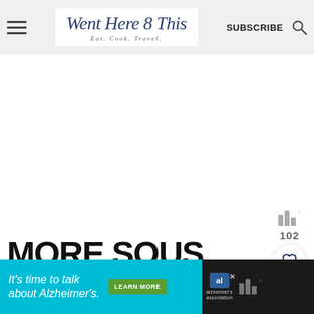Went Here 8 This — Eat. Cook. Travel. — SUBSCRIBE
[Figure (screenshot): White blank content area, advertising space]
MORE SOUS VIDE SEAFOOD RECIPES
[Figure (infographic): Side widget with bars showing 102, heart/save button, and search button]
[Figure (infographic): Bottom advertisement bar: It's time to talk about Alzheimer's. LEARN MORE. Alzheimer's Association logo with close button.]